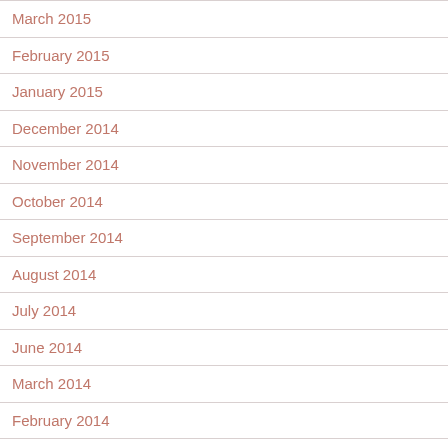March 2015
February 2015
January 2015
December 2014
November 2014
October 2014
September 2014
August 2014
July 2014
June 2014
March 2014
February 2014
January 2014
March 2013